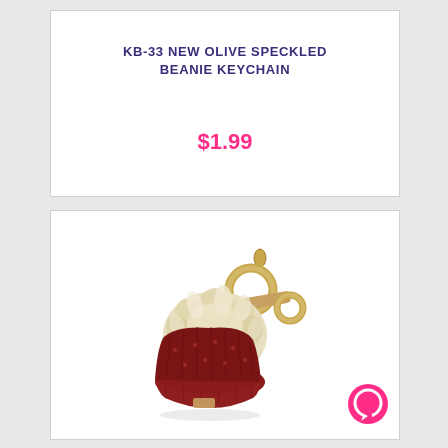KB-33 NEW OLIVE SPECKLED BEANIE KEYCHAIN
$1.99
[Figure (photo): A red speckled beanie keychain with a fluffy cream/beige faux fur pom-pom on top, attached to a gold-tone key ring hardware with a tan leather strap and two circular rings.]